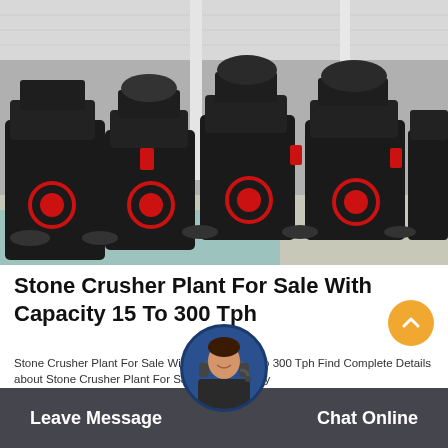[Figure (photo): Multiple large black stone crusher machines with red circular markings parked inside an industrial warehouse with a corrugated metal roof.]
Stone Crusher Plant For Sale With Capacity 15 To 300 Tph
Stone Crusher Plant For Sale With Capacity 15 To 300 Tph Find Complete Details about Stone Crusher Plant For Sale With Canacity
Leave Message   Chat Online